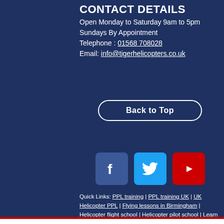CONTACT DETAILS
Open Monday to Saturday 9am to 5pm
Sundays By Appointment
Telephone : 01568 708028
Email: info@tigerhelicopters.co.uk
Back to Top
[Figure (other): Social media icons: Facebook (blue), Twitter (light blue), YouTube (red)]
Quick Links: PPL training | PPL training UK | UK Helicopter PPL | Flying lessons in Birmingham | Helicopter flight school | Helicopter pilot school | Learn to fly a helicopter | Helicopter lessons | Intensive Helicopter Pilot Training | PPL In Hereford | Helicopter Flight Lessons in Shropshire